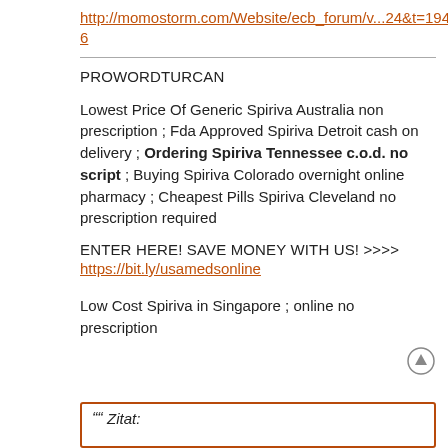http://momostorm.com/Website/ecb_forum/v...24&t=19476
PROWORDTURCAN
Lowest Price Of Generic Spiriva Australia non prescription ; Fda Approved Spiriva Detroit cash on delivery ; Ordering Spiriva Tennessee c.o.d. no script ; Buying Spiriva Colorado overnight online pharmacy ; Cheapest Pills Spiriva Cleveland no prescription required
ENTER HERE! SAVE MONEY WITH US! >>>>
https://bit.ly/usamedsonline
Low Cost Spiriva in Singapore ; online no prescription
Zitat: